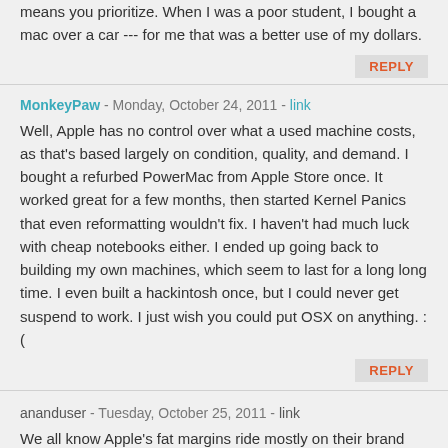means you prioritize. When I was a poor student, I bought a mac over a car --- for me that was a better use of my dollars.
REPLY
MonkeyPaw - Monday, October 24, 2011 - link
Well, Apple has no control over what a used machine costs, as that's based largely on condition, quality, and demand. I bought a refurbed PowerMac from Apple Store once. It worked great for a few months, then started Kernel Panics that even reformatting wouldn't fix. I haven't had much luck with cheap notebooks either. I ended up going back to building my own machines, which seem to last for a long long time. I even built a hackintosh once, but I could never get suspend to work. I just wish you could put OSX on anything. :(
REPLY
ananduser - Tuesday, October 25, 2011 - link
We all know Apple's fat margins ride mostly on their brand name rather than substance(Apple Care not included) . He was making a valid point on a higher end mac. "Circuits" are very democratic, in the sense that they...